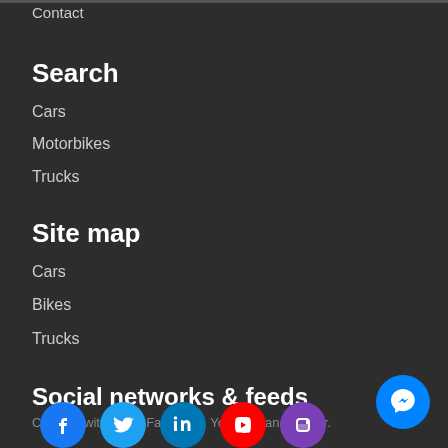Contact
Search
Cars
Motorbikes
Trucks
Site map
Cars
Bikes
Trucks
Social networks & feeds
Connect with us on Facebook, YouTube and Twitter.
[Figure (illustration): Facebook, Twitter, LinkedIn, YouTube, and another social network circular icon buttons partially visible at bottom of page, plus a blue Messenger floating button]